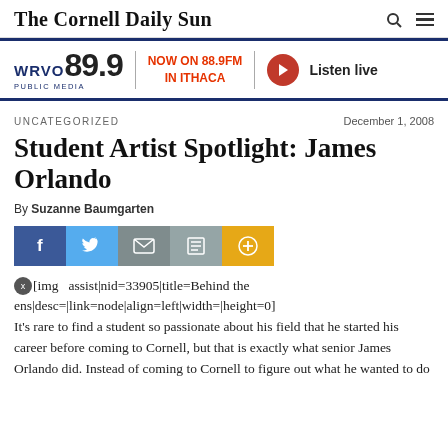The Cornell Daily Sun
[Figure (infographic): WRVO 89.9 Public Media advertisement banner: NOW ON 88.9FM IN ITHACA — Listen live]
UNCATEGORIZED
December 1, 2008
Student Artist Spotlight: James Orlando
By Suzanne Baumgarten
[Figure (infographic): Social share buttons: Facebook, Twitter, Mail, Print, Plus]
[img   assist|nid=33905|title=Behind the ens|desc=|link=node|align=left|width=|height=0]
It's rare to find a student so passionate about his field that he started his career before coming to Cornell, but that is exactly what senior James Orlando did. Instead of coming to Cornell to figure out what he wanted to do